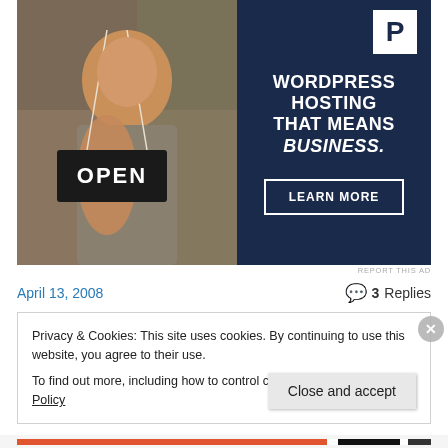[Figure (photo): Advertisement: Woman smiling and holding an OPEN sign, alongside dark navy panel with WordPress hosting ad. Shows P logo, text WORDPRESS HOSTING THAT MEANS BUSINESS. and LEARN MORE button.]
REPORT THIS AD
April 13, 2008
3 Replies
Privacy & Cookies: This site uses cookies. By continuing to use this website, you agree to their use.
To find out more, including how to control cookies, see here: Cookie Policy
Close and accept